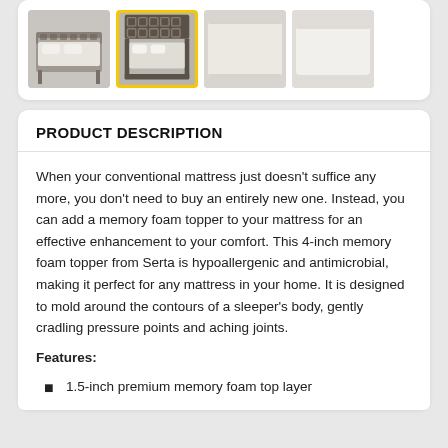[Figure (photo): Four product thumbnail images of a bed frame / mattress topper. Second thumbnail is highlighted with a yellow border.]
PRODUCT DESCRIPTION
When your conventional mattress just doesn't suffice any more, you don't need to buy an entirely new one. Instead, you can add a memory foam topper to your mattress for an effective enhancement to your comfort. This 4-inch memory foam topper from Serta is hypoallergenic and antimicrobial, making it perfect for any mattress in your home. It is designed to mold around the contours of a sleeper's body, gently cradling pressure points and aching joints.
Features:
1.5-inch premium memory foam top layer